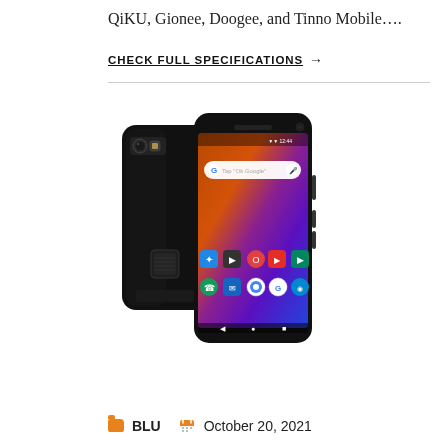QiKU, Gionee, Doogee, and Tinno Mobile....
CHECK FULL SPECIFICATIONS →
[Figure (photo): Product photo of a BLU smartphone showing both the back and front. The back is glossy black with dual camera and fingerprint sensor. The front shows an Android home screen with colorful wallpaper and app icons.]
BLU   October 20, 2021